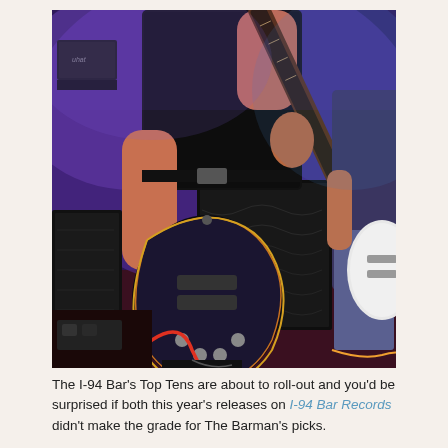[Figure (photo): Two guitarists performing on stage under purple/blue lighting. The foreground guitarist plays a dark Les Paul-style electric guitar with a red cable, wearing a dark short-sleeve shirt. Stage equipment including Marshall amplifiers and speaker cabinets visible in background. A second guitarist on the right plays a white guitar.]
The I-94 Bar's Top Tens are about to roll-out and you'd be surprised if both this year's releases on I-94 Bar Records didn't make the grade for The Barman's picks.